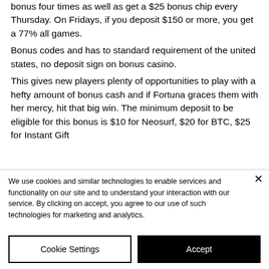Bonus. It is possible to get a 66% slots bonus four times as well as get a $25 bonus chip every Thursday. On Fridays, if you deposit $150 or more, you get a 77% all games.
Bonus codes and has to standard requirement of the united states, no deposit sign on bonus casino.
This gives new players plenty of opportunities to play with a hefty amount of bonus cash and if Fortuna graces them with her mercy, hit that big win. The minimum deposit to be eligible for this bonus is $10 for Neosurf, $20 for BTC, $25 for Instant Gift
We use cookies and similar technologies to enable services and functionality on our site and to understand your interaction with our service. By clicking on accept, you agree to our use of such technologies for marketing and analytics.